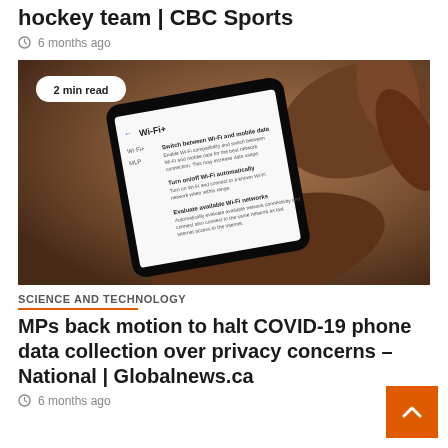hockey team | CBC Sports
6 months ago
[Figure (photo): A person holding a smartphone showing Wi-Fi settings screen. Badge reads '2 min read'.]
SCIENCE AND TECHNOLOGY
MPs back motion to halt COVID-19 phone data collection over privacy concerns - National | Globalnews.ca
6 months ago